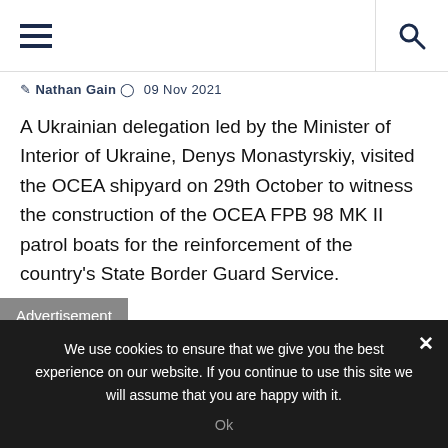Navigation header with hamburger menu and search icon
Nathan Gain  09 Nov 2021
A Ukrainian delegation led by the Minister of Interior of Ukraine, Denys Monastyrskiy, visited the OCEA shipyard on 29th October to witness the construction of the OCEA FPB 98 MK II patrol boats for the reinforcement of the country's State Border Guard Service.
Advertisement
We use cookies to ensure that we give you the best experience on our website. If you continue to use this site we will assume that you are happy with it.
Ok